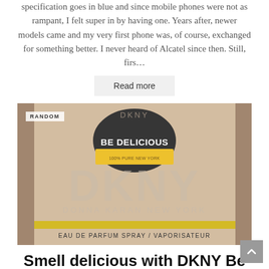specification goes in blue and since mobile phones were not as rampant, I felt super in by having one. Years after, newer models came and my very first phone was, of course, exchanged for something better. I never heard of Alcatel since then. Still, firs…
Read more
[Figure (photo): A DKNY 'Be Delicious' perfume box (kraft brown cardboard) with 'DKNY Donna Karan New York' text and 'Eau de Parfum Spray / Vaporisateur' label, with a 'RANDOM' category badge in the top-left corner.]
Smell delicious with DKNY Be